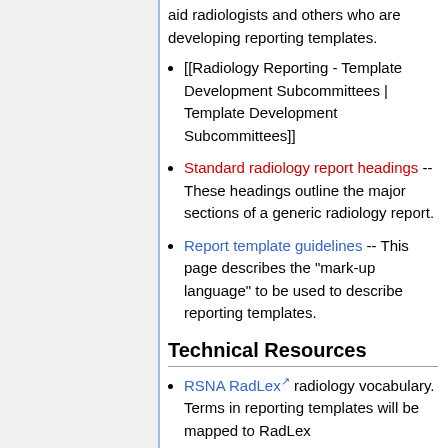aid radiologists and others who are developing reporting templates.
[[Radiology Reporting - Template Development Subcommittees | Template Development Subcommittees]]
Standard radiology report headings -- These headings outline the major sections of a generic radiology report.
Report template guidelines -- This page describes the "mark-up language" to be used to describe reporting templates.
Technical Resources
RSNA RadLex radiology vocabulary. Terms in reporting templates will be mapped to RadLex